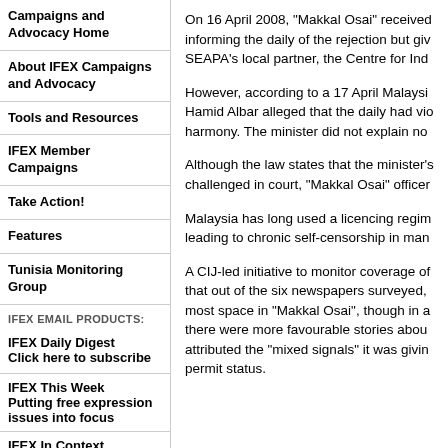Campaigns and Advocacy Home
About IFEX Campaigns and Advocacy
Tools and Resources
IFEX Member Campaigns
Take Action!
Features
Tunisia Monitoring Group
IFEX EMAIL PRODUCTS:
IFEX Daily Digest
Click here to subscribe
IFEX This Week
Putting free expression issues into focus
IFEX In Context
Putting free expression issues in perspective
OPPORTUNITIES AND ASSISTANCE:
Awards and other
On 16 April 2008, "Makkal Osai" received informing the daily of the rejection but giv SEAPA's local partner, the Centre for Ind
However, according to a 17 April Malaysi Hamid Albar alleged that the daily had vio harmony. The minister did not explain no
Although the law states that the minister's challenged in court, "Makkal Osai" officer
Malaysia has long used a licencing regim leading to chronic self-censorship in man
A CIJ-led initiative to monitor coverage of that out of the six newspapers surveyed, most space in "Makkal Osai", though in a there were more favourable stories abou attributed the "mixed signals" it was givin permit status.